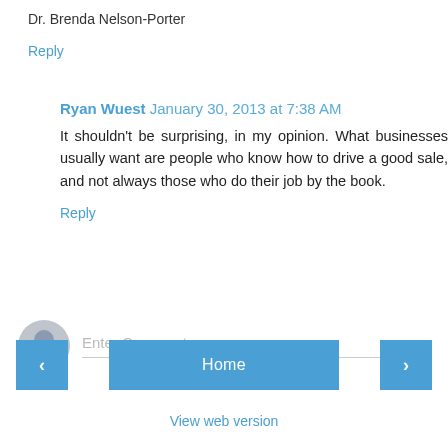Dr. Brenda Nelson-Porter
Reply
Ryan Wuest  January 30, 2013 at 7:38 AM
It shouldn't be surprising, in my opinion. What businesses usually want are people who know how to drive a good sale, and not always those who do their job by the book.
Reply
Enter Comment
Home
View web version